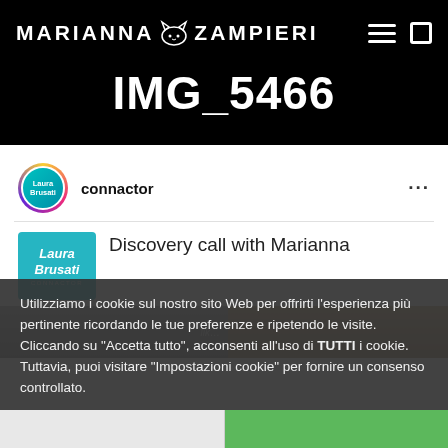MARIANNA ZAMPIERI
IMG_5466
[Figure (screenshot): Instagram post screenshot showing connactor profile with Laura Brusati logo and text 'Discovery call with Marianna'. Includes avatar with gradient border and partial post image.]
Utilizziamo i cookie sul nostro sito Web per offrirti l'esperienza più pertinente ricordando le tue preferenze e ripetendo le visite. Cliccando su "Accetta tutto", acconsenti all'uso di TUTTI i cookie. Tuttavia, puoi visitare "Impostazioni cookie" per fornire un consenso controllato.